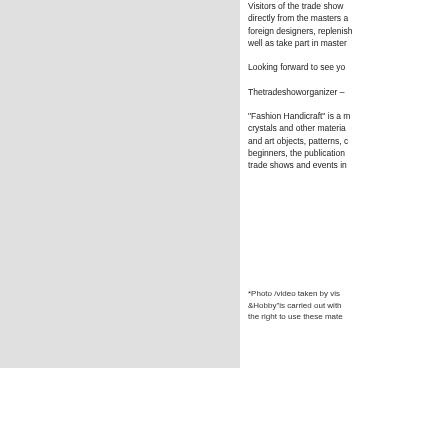[Figure (photo): Large rectangular grey/light photo block on the left side of the page]
Visitors of the trade show directly from the masters a foreign designers, replenish well as take part in master
Looking forward to see yo
Thetradeshoworganizer –
“Fashion Handicraft” is a m crystals and other materia and art objects, patterns, c beginners, the publication trade shows and events in
*Photo /video taken by vis &Hobby”is carried out with the right to use these mate